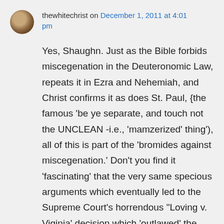thewhitechrist on December 1, 2011 at 4:01 pm
Yes, Shaughn. Just as the Bible forbids miscegenation in the Deuteronomic Law, repeats it in Ezra and Nehemiah, and Christ confirms it as does St. Paul, {the famous ‘be ye separate, and touch not the UNCLEAN -i.e., ‘mamzerized’ thing’), all of this is part of the ‘bromides against miscegenation.’ Don’t you find it ‘fascinating’ that the very same specious arguments which eventually led to the Supreme Court’s horrendous “Loving v. Viginia’ decision which ‘outlawed’ the biblical practice of miscegenation, are